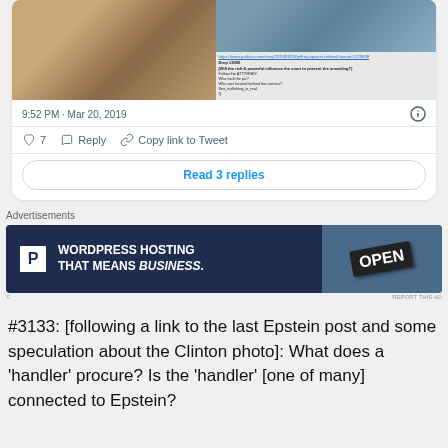[Figure (screenshot): Twitter/X tweet card showing photos of people in a swimming pool and a Q-drop text post, dated 9:52 PM Mar 20, 2019, with like count of 7, Reply and Copy link to Tweet actions, and Read 3 replies button]
[Figure (screenshot): Advertisement banner for WordPress Hosting with text 'WORDPRESS HOSTING THAT MEANS BUSINESS.' and an OPEN sign photo]
#3133: [following a link to the last Epstein post and some speculation about the Clinton photo]: What does a 'handler' procure? Is the 'handler' [one of many] connected to Epstein?